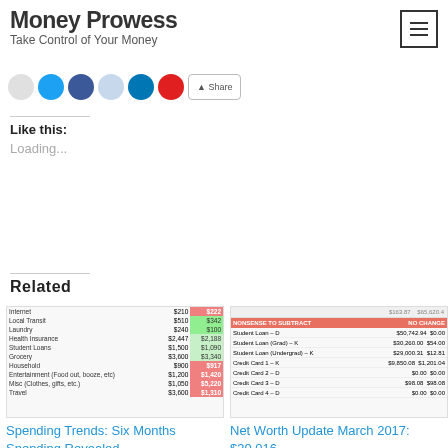Money Prowess
Take Control of Your Money
Like this:
Loading...
Related
[Figure (table-as-image): Spending Trends table showing categories like Internet, Local Transit, Laundry, Health Insurance, Student Loans, Grocery, Household, Entertainment, Misc, Travel with budget amounts and red/green highlighted actual amounts]
Spending Trends: Six Months Spending Revealed
July 29, 2017
In "Spending"
[Figure (table-as-image): Net Worth Update table with columns NONSENSE TO SUBTRACT and NO CHANGE, showing Student Loan D, Student Loan (Grad) K, Student Loan (Undergrad) K, Credit Card 1 K, Credit Card 2 D, Credit Card 3 D, Credit Card 4 D with dollar amounts]
Net Worth Update March 2017: $30,016
March 6, 2017
In "Net Worth"